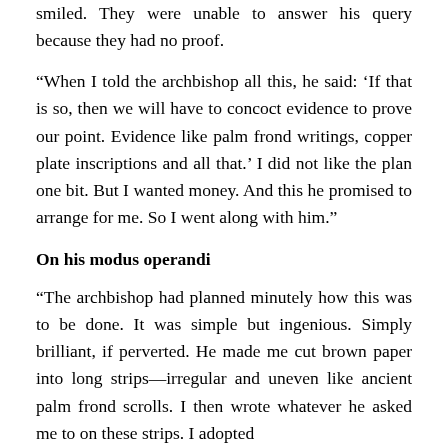smiled. They were unable to answer his query because they had no proof.
“When I told the archbishop all this, he said: ‘If that is so, then we will have to concoct evidence to prove our point. Evidence like palm frond writings, copper plate inscriptions and all that.’ I did not like the plan one bit. But I wanted money. And this he promised to arrange for me. So I went along with him.”
On his modus operandi
“The archbishop had planned minutely how this was to be done. It was simple but ingenious. Simply brilliant, if perverted. He made me cut brown paper into long strips—irregular and uneven like ancient palm frond scrolls. I then wrote whatever he asked me to on these strips. I adopted